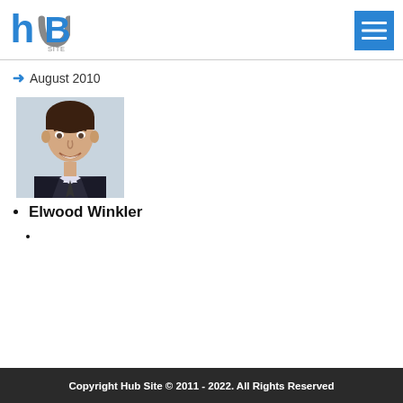[Figure (logo): Hub Site logo with stylized 'hB' letters and 'SITE' text below]
August 2010
[Figure (photo): Headshot of a young man in a dark suit and tie, smiling]
Elwood Winkler
Copyright Hub Site © 2011 - 2022. All Rights Reserved